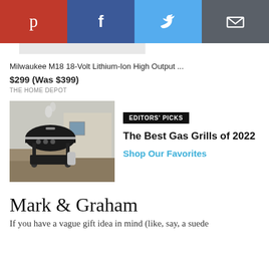[Figure (other): Social sharing bar with Pinterest, Facebook, Twitter, and Email buttons]
[Figure (other): Gray placeholder rectangle representing a product image]
Milwaukee M18 18-Volt Lithium-Ion High Output ...
$299 (Was $399)
THE HOME DEPOT
[Figure (photo): Photo of a black gas grill outdoors in front of a house with smoke rising]
EDITORS' PICKS
The Best Gas Grills of 2022
Shop Our Favorites
Mark & Graham
If you have a vague gift idea in mind (like, say, a suede